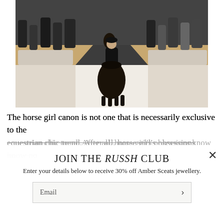[Figure (photo): Fashion show photograph showing a model riding a dark horse down a white runway/catwalk, with an audience seated on both sides wearing masks. The venue has a grey wall backdrop and tan/wood-toned low seating platforms.]
The horse girl canon is not one that is necessarily exclusive to the equestrian chic trend. After all, horse girl's obsessions know no
JOIN THE RUSSH CLUB
Enter your details below to receive 30% off Amber Sceats jewellery.
Email